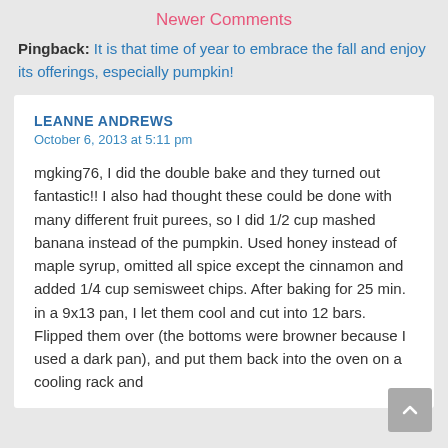Newer Comments
Pingback: It is that time of year to embrace the fall and enjoy its offerings, especially pumpkin!
LEANNE ANDREWS
October 6, 2013 at 5:11 pm
mgking76, I did the double bake and they turned out fantastic!! I also had thought these could be done with many different fruit purees, so I did 1/2 cup mashed banana instead of the pumpkin. Used honey instead of maple syrup, omitted all spice except the cinnamon and added 1/4 cup semisweet chips. After baking for 25 min. in a 9x13 pan, I let them cool and cut into 12 bars. Flipped them over (the bottoms were browner because I used a dark pan), and put them back into the oven on a cooling rack and